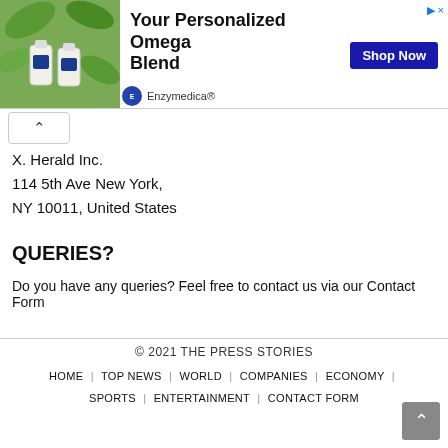[Figure (other): Advertisement banner for Enzymedica personalized omega blend supplement product with photo of supplement bottles and tropical plant leaves]
X. Herald Inc.
114 5th Ave New York,
NY 10011, United States
QUERIES?
Do you have any queries? Feel free to contact us via our Contact Form
© 2021 THE PRESS STORIES
HOME | TOP NEWS | WORLD | COMPANIES | ECONOMY | SPORTS | ENTERTAINMENT | CONTACT FORM